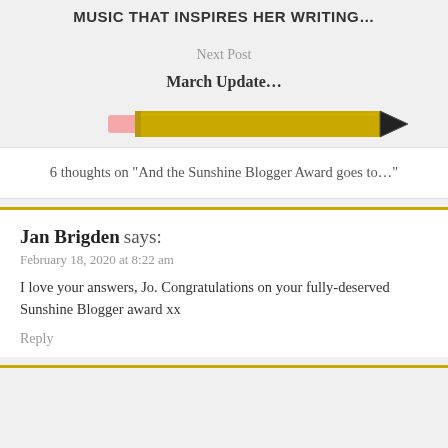MUSIC THAT INSPIRES HER WRITING…
Next Post
March Update…
[Figure (illustration): Illustration of a yellow pencil pointing right]
6 thoughts on “And the Sunshine Blogger Award goes to…”
Jan Brigden says:
February 18, 2020 at 8:22 am
I love your answers, Jo. Congratulations on your fully-deserved Sunshine Blogger award xx
Reply